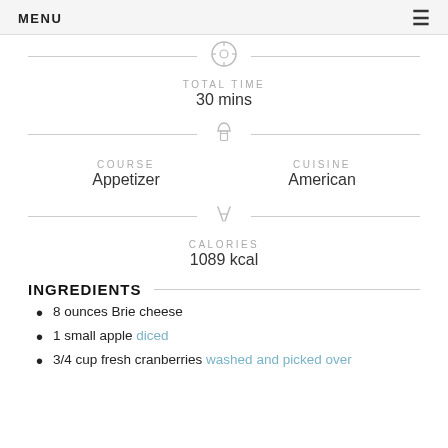MENU
TOTAL TIME
30 mins
COURSE
Appetizer
CUISINE
American
CALORIES
1089 kcal
INGREDIENTS
8 ounces Brie cheese
1 small apple diced
3/4 cup fresh cranberries washed and picked over